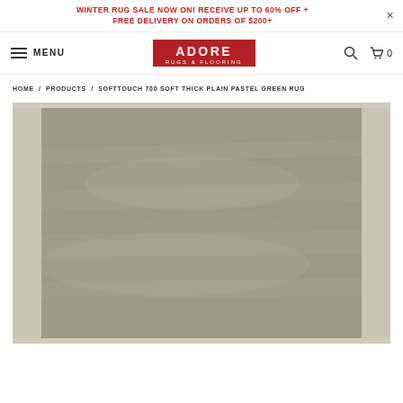WINTER RUG SALE NOW ON! RECEIVE UP TO 60% OFF + FREE DELIVERY ON ORDERS OF $200+
[Figure (logo): Adore Rugs & Flooring logo - white text on red background]
MENU
HOME / PRODUCTS / SOFTTOUCH 700 SOFT THICK PLAIN PASTEL GREEN RUG
[Figure (photo): Softtouch 700 Soft Thick Plain Pastel Green Rug - grey-green rug with border detail photographed from above]